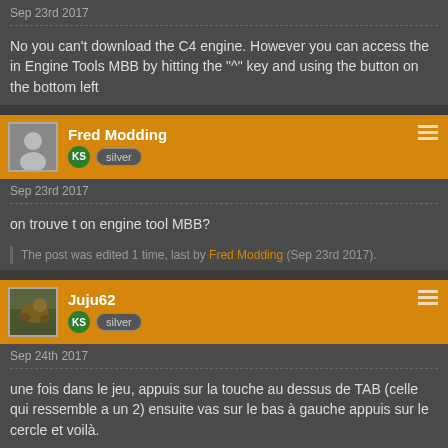Sep 23rd 2017
No you can't download the C4 engine. However you can access the in Engine Tools MBB by hitting the "^" key and using the button on the bottom left
Fred Modding
Sep 23rd 2017
on trouve t on engine tool MBB?
The post was edited 1 time, last by Fred Modding (Sep 23rd 2017).
Juju62
Sep 24th 2017
une fois dans le jeu, appuis sur la touche au dessus de TAB (celle qui ressemble a un 2) ensuite vas sur le bas à gauche appuis sur le cercle et voilà.